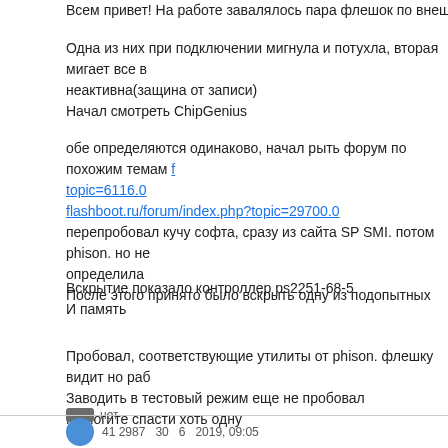Всем привет! На работе завалялось пара флешок по внешему виду S
Одна из них при подключении мигнула и потухла, вторая мигает все в
неактивна(защина от записи)
Начал смотреть ChipGenius
обе определяются одинаково, начал рыть форум по похожим темам f
topic=6116.0
flashboot.ru/forum/index.php?topic=29700.0
перепробовал кучу софта, сразу из сайта SP SMI. потом phison. но не
определила
После этого принято было вскрыть одну из подопытных
Вскрытие показало контроллер ps2251-68-5
И память
Пробовал, соответствующие утилиты от phison. флешку видит но раб
Заводить в тестовый режим еще не пробовал
Помогите спасти хоть одну
нет
41 2987  30    6  2019, 09:05